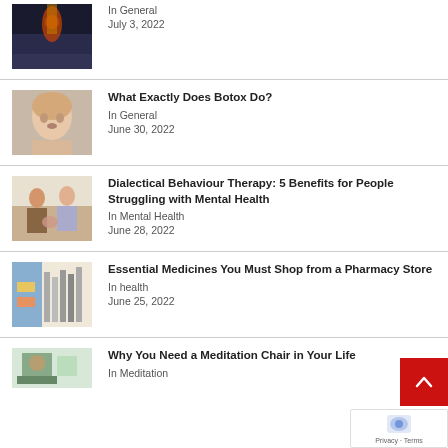[Figure (photo): Basketball player jumping in arena, dark background]
In General
July 3, 2022
[Figure (photo): Blonde woman face close-up, light background]
What Exactly Does Botox Do?
In General
June 30, 2022
[Figure (photo): People sitting together, hands clasped, support group scene]
Dialectical Behaviour Therapy: 5 Benefits for People Struggling with Mental Health
In Mental Health
June 28, 2022
[Figure (photo): Person browsing pharmacy store shelves with medicines]
Essential Medicines You Must Shop from a Pharmacy Store
In health
June 25, 2022
[Figure (photo): Person sitting in meditation chair in a room]
Why You Need a Meditation Chair in Your Life
In Meditation